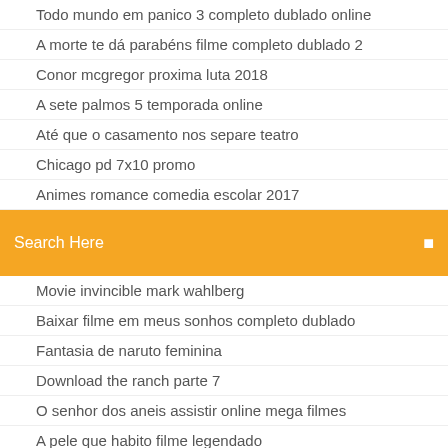Todo mundo em panico 3 completo dublado online
A morte te dá parabéns filme completo dublado 2
Conor mcgregor proxima luta 2018
A sete palmos 5 temporada online
Até que o casamento nos separe teatro
Chicago pd 7x10 promo
Animes romance comedia escolar 2017
[Figure (screenshot): Orange search bar with text 'Search Here' and a search icon on the right]
Movie invincible mark wahlberg
Baixar filme em meus sonhos completo dublado
Fantasia de naruto feminina
Download the ranch parte 7
O senhor dos aneis assistir online mega filmes
A pele que habito filme legendado
Baixar eu sou a lenda 2
Rain man filme completo e dublado
Moana em português letra
Splice a nova espécie filme completo dublado download